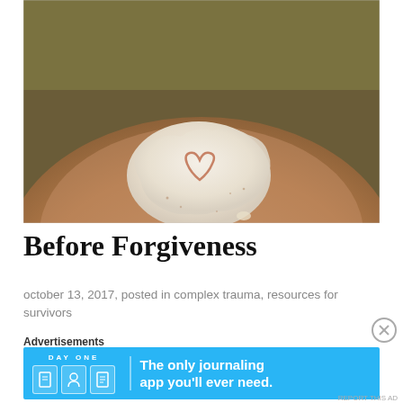[Figure (photo): Close-up photograph of a human shoulder/arm with a patch of white cream/ointment applied, and a heart shape drawn or visible within the cream. The background skin has a warm brownish-olive tone.]
Before Forgiveness
october 13, 2017, posted in complex trauma, resources for survivors
Advertisements
[Figure (screenshot): Advertisement banner for DAY ONE journaling app. Blue background with DAY ONE brand name, three app icons (journal, person, checklist), a vertical divider, and the tagline 'The only journaling app you'll ever need.']